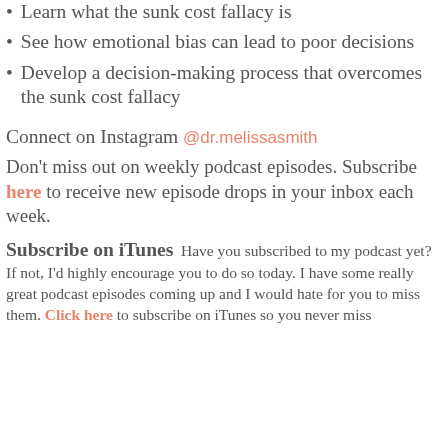Learn what the sunk cost fallacy is
See how emotional bias can lead to poor decisions
Develop a decision-making process that overcomes the sunk cost fallacy
Connect on Instagram @dr.melissasmith
Don't miss out on weekly podcast episodes. Subscribe here to receive new episode drops in your inbox each week.
Subscribe on iTunes  Have you subscribed to my podcast yet? If not, I'd highly encourage you to do so today. I have some really great podcast episodes coming up and I would hate for you to miss them. Click here to subscribe on iTunes so you never miss